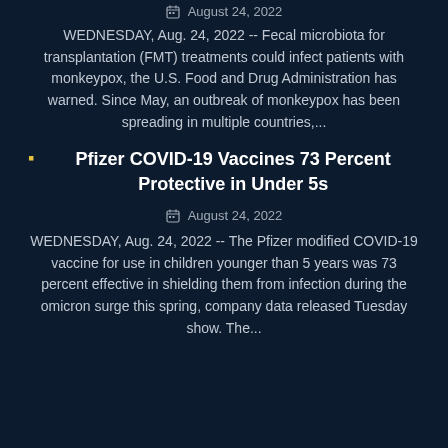August 24, 2022
WEDNESDAY, Aug. 24, 2022 -- Fecal microbiota for transplantation (FMT) treatments could infect patients with monkeypox, the U.S. Food and Drug Administration has warned. Since May, an outbreak of monkeypox has been spreading in multiple countries,...
Pfizer COVID-19 Vaccines 73 Percent Protective in Under 5s
August 24, 2022
WEDNESDAY, Aug. 24, 2022 -- The Pfizer modified COVID-19 vaccine for use in children younger than 5 years was 73 percent effective in shielding them from infection during the omicron surge this spring, company data released Tuesday show. The...